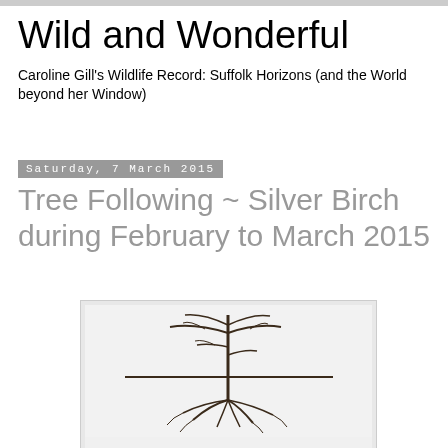Wild and Wonderful
Caroline Gill's Wildlife Record: Suffolk Horizons (and the World beyond her Window)
Saturday, 7 March 2015
Tree Following ~ Silver Birch during February to March 2015
[Figure (illustration): Illustration of a tree showing trunk, branches and root system. Below the image is text reading 'I'm Following a Tree']
I'm Following a Tree